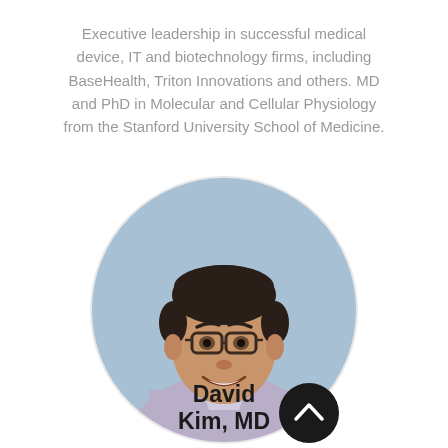Executive leadership in successful medical device, IT and biotechnology firms, including BaseHealth, Triton Innovations and others. MD and PhD in Molecular and Cellular Physiology from the Stanford University School of Medicine.
[Figure (photo): Circular portrait photo of David Kim, MD — a man with dark hair, glasses, and a light purple shirt, smiling against a light blue background. A dark circular button with a chevron/up-arrow icon appears at the bottom-right of the portrait circle.]
David Kim, MD